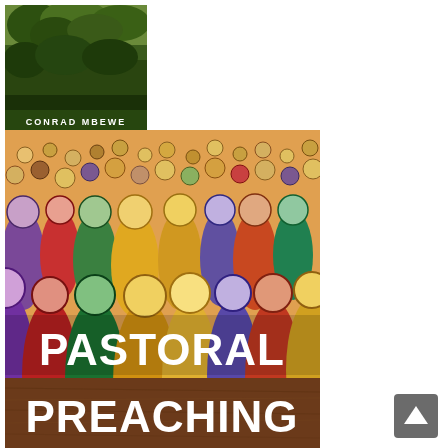[Figure (illustration): Book cover showing a green nature/forest background with text 'CONRAD MBEWE' at the bottom center]
[Figure (illustration): Book cover titled 'PASTORAL PREACHING' featuring a colorful painting of a crowd of people in various colors (yellow, red, green, purple, blue) with 'PASTORAL' in large white bold text over the illustration and 'PREACHING' in large white bold text on a brown/wood-grain band at the bottom]